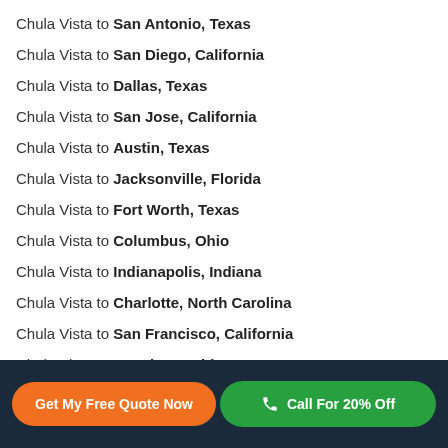Chula Vista to San Antonio, Texas
Chula Vista to San Diego, California
Chula Vista to Dallas, Texas
Chula Vista to San Jose, California
Chula Vista to Austin, Texas
Chula Vista to Jacksonville, Florida
Chula Vista to Fort Worth, Texas
Chula Vista to Columbus, Ohio
Chula Vista to Indianapolis, Indiana
Chula Vista to Charlotte, North Carolina
Chula Vista to San Francisco, California
Chula Vista to Seattle, Washington
Chula Vista to Denver, Colorado
Get My Free Quote Now | Call For 20% Off